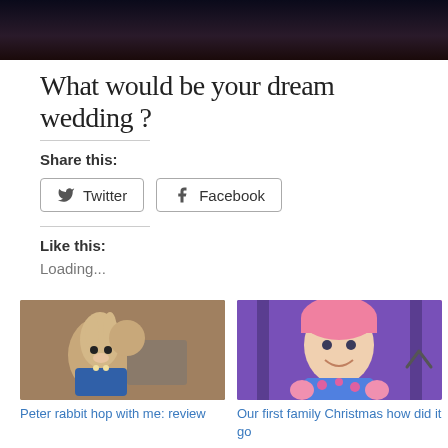[Figure (photo): Dark photo at top of page, partially visible]
What would be your dream wedding ?
Share this:
Twitter  Facebook
Like this:
Loading...
[Figure (photo): Peter Rabbit stuffed toy plush character in blue jacket]
Peter rabbit hop with me: review
[Figure (photo): Baby in pink hat and floral outfit sitting in stroller]
Our first family Christmas how did it go